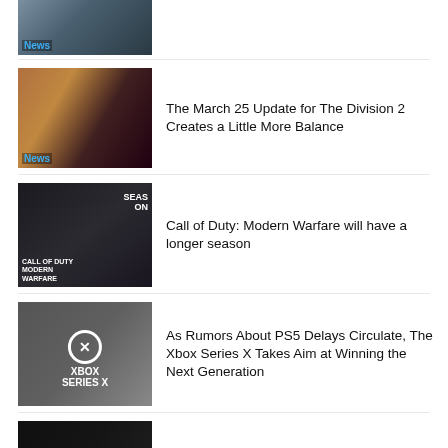[Figure (photo): Top partially visible news thumbnail with News badge]
[Figure (photo): The Division 2 game artwork with soldiers, News badge]
The March 25 Update for The Division 2 Creates a Little More Balance
[Figure (photo): Call of Duty Modern Warfare soldier with rifle, Season One logo]
Call of Duty: Modern Warfare will have a longer season
[Figure (photo): Xbox Series X console with controller, Xbox logo]
As Rumors About PS5 Delays Circulate, The Xbox Series X Takes Aim at Winning the Next Generation
[Figure (photo): The Last of Us 2 or Ghost of Tsushima character in dark scene]
The Last of US 2 and Ghost of Tsushima Have Official Release Dates Again